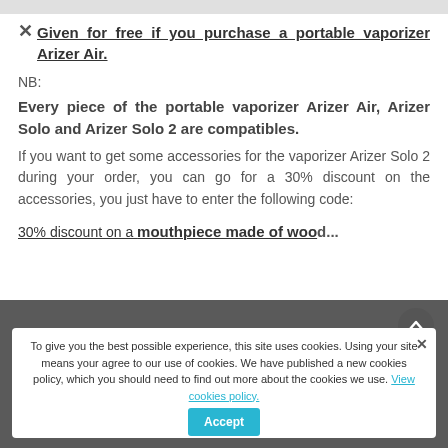Given for free if you purchase a portable vaporizer Arizer Air.
NB:
Every piece of the portable vaporizer Arizer Air, Arizer Solo and Arizer Solo 2 are compatibles.
If you want to get some accessories for the vaporizer Arizer Solo 2 during your order, you can go for a 30% discount on the accessories, you just have to enter the following code:
30% discount on a mouthpiece made of wood...
TNT with the code: STEMTNT
Ed's TNT with the code: STEMSolo2...
To give you the best possible experience, this site uses cookies. Using your site means your agree to our use of cookies. We have published a new cookies policy, which you should need to find out more about the cookies we use. View cookies policy. Accept